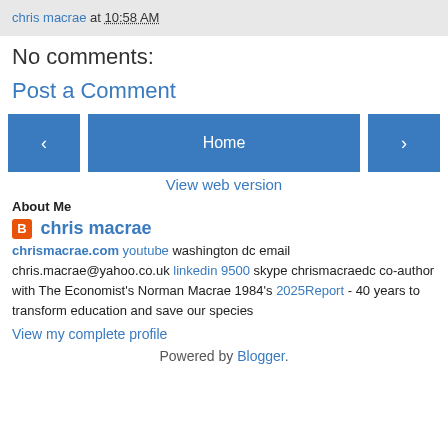chris macrae at 10:58 AM
No comments:
Post a Comment
[Figure (other): Navigation bar with left arrow button, Home button, and right arrow button]
View web version
About Me
chris macrae
chrismacrae.com youtube washington dc email chris.macrae@yahoo.co.uk linkedin 9500 skype chrismacraedc co-author with The Economist's Norman Macrae 1984's 2025Report - 40 years to transform education and save our species
View my complete profile
Powered by Blogger.